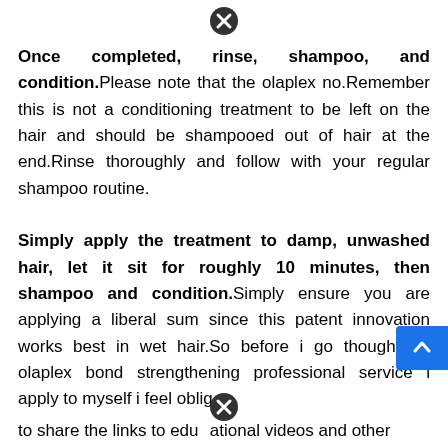[Figure (other): Close/X button icon at top center]
Once completed, rinse, shampoo, and condition. Please note that the olaplex no.Remember this is not a conditioning treatment to be left on the hair and should be shampooed out of hair at the end.Rinse thoroughly and follow with your regular shampoo routine.
Simply apply the treatment to damp, unwashed hair, let it sit for roughly 10 minutes, then shampoo and condition. Simply ensure you are applying a liberal sum since this patent innovation works best in wet hair.So before i go though the olaplex bond strengthening professional service i apply to myself i feel oblig to share the links to educational videos and other
[Figure (other): Blue scroll-to-top button on right side]
[Figure (other): Close/X button icon at bottom center]